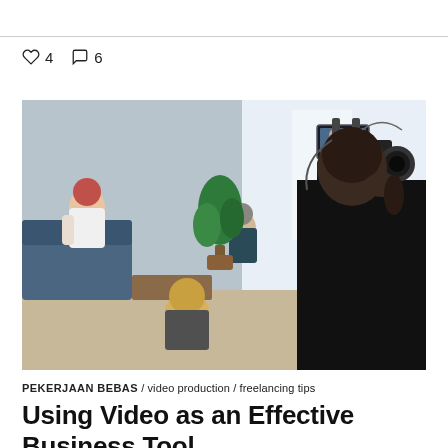♡ 4  ◯ 6
[Figure (photo): A videographer holding a professional camera on their shoulder films a group of people seated in a bright indoor setting. The camera operator is seen from behind, dressed in black, with a monitor attached to the camera. In the background, several people are seated on sofas and chairs, including a woman with red hair in a white top, a man in dark clothing, and others. A large green plant is visible near a window letting in bright light.]
PEKERJAAN BEBAS / video production / freelancing tips
Using Video as an Effective Business Tool